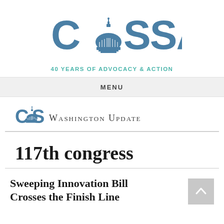[Figure (logo): COSSA logo with Capitol building dome replacing the 'O', large header version with '40 Years of Advocacy & Action' tagline in teal]
MENU
[Figure (logo): COSSA Washington Update banner logo — small COSSA logo with Capitol dome, followed by 'Washington Update' in small-caps serif text, with horizontal rule below]
117th congress
Sweeping Innovation Bill Crosses the Finish Line